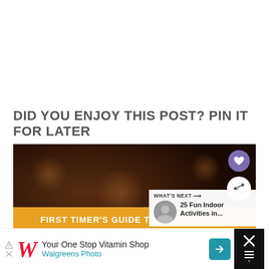DID YOU ENJOY THIS POST? PIN IT FOR LATER
[Figure (photo): Pinterest-style image card with dark background showing 'FIRST TIMER'S GUIDE TO THE MOB MUSEUM' text on an orange banner, with large white 'MOB MUSEUM' text, heart/save button in purple circle, share button in white circle, and 'What's Next' sidebar with '25 Fun Indoor Activities in...' article thumbnail]
[Figure (photo): Advertisement banner for Walgreens Photo: 'Your One Stop Vitamin Shop' with Walgreens cursive W logo, blue arrow button, and dark right panel]